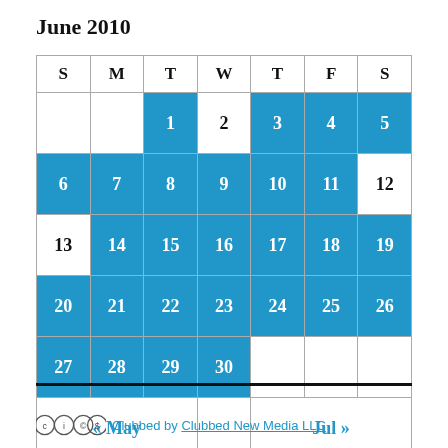June 2010
| S | M | T | W | T | F | S |
| --- | --- | --- | --- | --- | --- | --- |
|  |  | 1 | 2 | 3 | 4 | 5 |
| 6 | 7 | 8 | 9 | 10 | 11 | 12 |
| 13 | 14 | 15 | 16 | 17 | 18 | 19 |
| 20 | 21 | 22 | 23 | 24 | 25 | 26 |
| 27 | 28 | 29 | 30 |  |  |  |
| « May |  |  |  | Jul » |  |  |
Clubbed by Clubbed New Media LLC